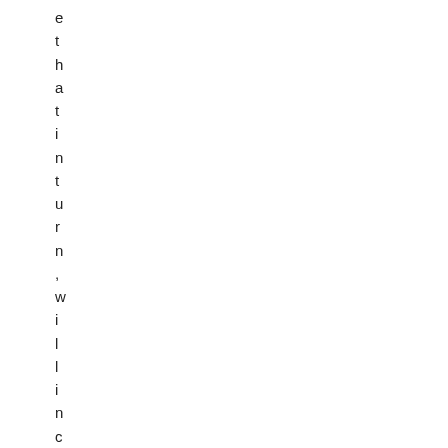e
t
h
a
t
i
n
t
u
r
n
,
w
i
l
l
i
n
c
r
e
a
s
e
o